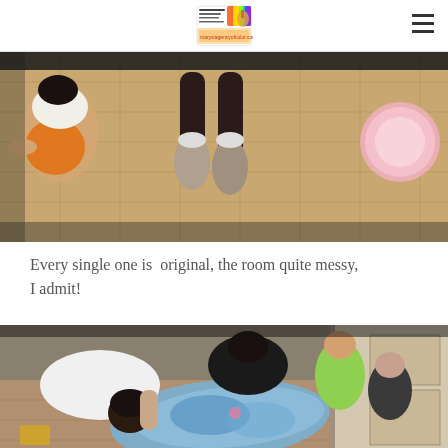Mary's Agency of Color & Colour - blog header with logo
[Figure (photo): Top-down view of children sitting on a tatami mat floor, one child in orange shorts visible on the left, feet and legs visible in center, and a pink circular object on the right side]
Every single one is  original, the room quite messy, I admit!
[Figure (photo): Children leaning over a large blue painted paper/artwork on the floor, one child in white shirt bending down, others watching around, in a Japanese-style room]